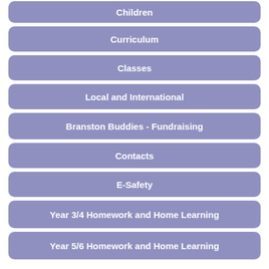Children
Curriculum
Classes
Local and International
Branston Buddies - Fundraising
Contacts
E-Safety
Year 3/4 Homework and Home Learning
Year 5/6 Homework and Home Learning